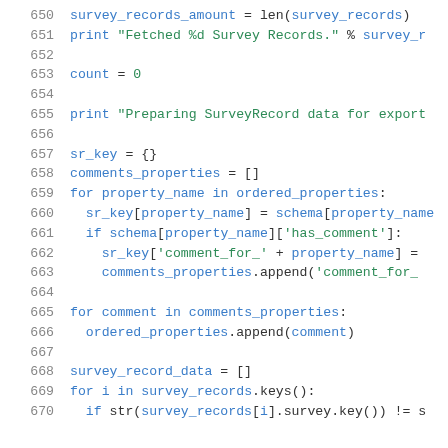[Figure (screenshot): Python source code snippet showing lines 650-670 with syntax highlighting. Line numbers in gray on left, keywords in blue, string literals in green, regular code in dark color.]